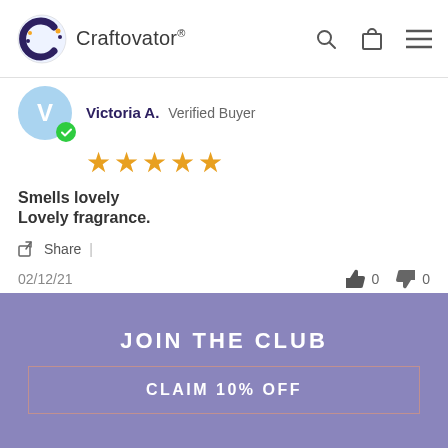Craftovator®
Victoria A.  Verified Buyer
★★★★★
Smells lovely
Lovely fragrance.
Share  |  02/12/21  👍 0  👎 0
Laura H.  Verified Buyer
★★★★★
JOIN THE CLUB
CLAIM 10% OFF